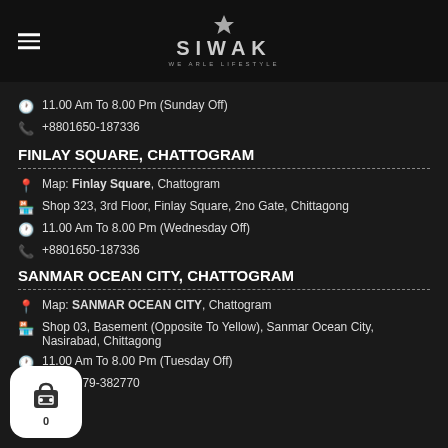SIWAK — header with logo and hamburger menu
11.00 Am To 8.00 Pm (Sunday Off)
+8801650-187336
FINLAY SQUARE, CHATTOGRAM
Map: Finlay Square, Chattogram
Shop 323, 3rd Floor, Finlay Square, 2no Gate, Chittagong
11.00 Am To 8.00 Pm (Wednesday Off)
+8801650-187336
SANMAR OCEAN CITY, CHATTOGRAM
Map: SANMAR OCEAN CITY, Chattogram
Shop 03, Basement (Opposite To Yellow), Sanmar Ocean City, Nasirabad, Chittagong
11.00 Am To 8.00 Pm (Tuesday Off)
+8801879-382770